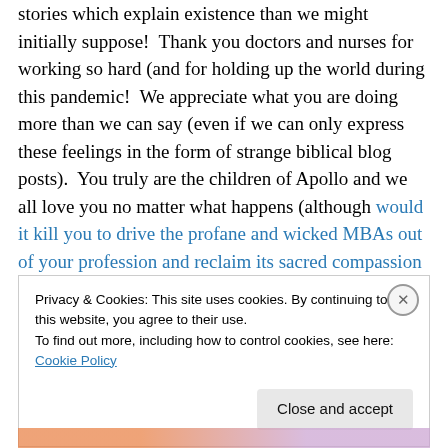stories which explain existence than we might initially suppose!  Thank you doctors and nurses for working so hard (and for holding up the world during this pandemic!  We appreciate what you are doing more than we can say (even if we can only express these feelings in the form of strange biblical blog posts).  You truly are the children of Apollo and we all love you no matter what happens (although would it kill you to drive the profane and wicked MBAs out of your profession and reclaim its sacred compassion for everyone?)
Privacy & Cookies: This site uses cookies. By continuing to use this website, you agree to their use. To find out more, including how to control cookies, see here: Cookie Policy
Close and accept